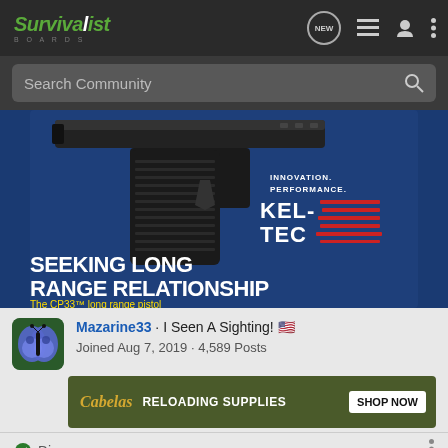Survivalist BOARDS
Search Community
[Figure (photo): Kel-Tec CP33 long range pistol advertisement. Dark blue background with image of a pistol. Text reads: INNOVATION. PERFORMANCE. KEL-TEC. SEEKING LONG RANGE RELATIONSHIP. The CP33 long range pistol.]
Mazarine33 · I Seen A Sighting! 🇺🇸
Joined Aug 7, 2019 · 4,589 Posts
[Figure (photo): Cabela's Reloading Supplies advertisement banner. Dark olive green background. Cabela's logo in gold italic script. Text: RELOADING SUPPLIES. SHOP NOW button.]
Discu